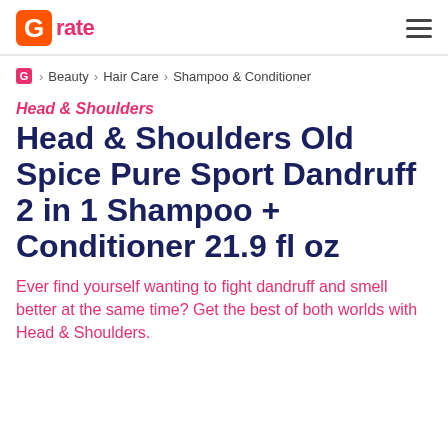Grate
Beauty > Hair Care > Shampoo & Conditioner
Head & Shoulders
Head & Shoulders Old Spice Pure Sport Dandruff 2 in 1 Shampoo + Conditioner 21.9 fl oz
Ever find yourself wanting to fight dandruff and smell better at the same time? Get the best of both worlds with Head & Shoulders.